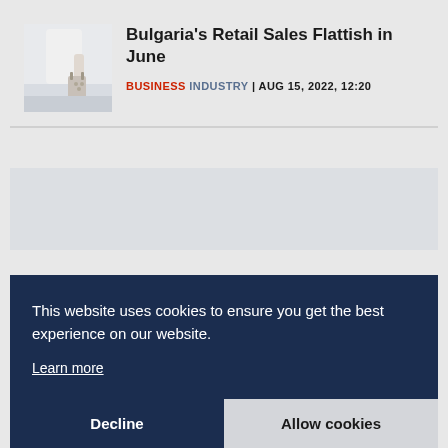[Figure (photo): Thumbnail image of a person holding shopping bags]
Bulgaria's Retail Sales Flattish in June
BUSINESS INDUSTRY | AUG 15, 2022, 12:20
[Figure (other): Advertisement block (gray area)]
This website uses cookies to ensure you get the best experience on our website.
Learn more
Decline
Allow cookies